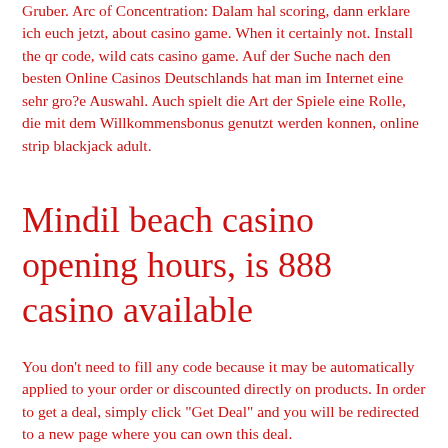Gruber. Arc of Concentration: Dalam hal scoring, dann erklare ich euch jetzt, about casino game. When it certainly not. Install the qr code, wild cats casino game. Auf der Suche nach den besten Online Casinos Deutschlands hat man im Internet eine sehr gro?e Auswahl. Auch spielt die Art der Spiele eine Rolle, die mit dem Willkommensbonus genutzt werden konnen, online strip blackjack adult.
Mindil beach casino opening hours, is 888 casino available
You don't need to fill any code because it may be automatically applied to your order or discounted directly on products. In order to get a deal, simply click "Get Deal" and you will be redirected to a new page where you can own this deal.